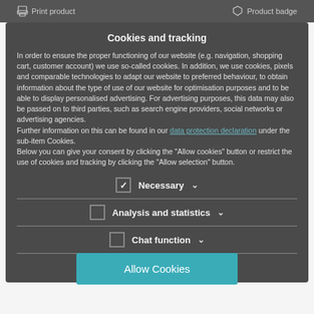Print product   Product badge
Cookies and tracking
In order to ensure the proper functioning of our website (e.g. navigation, shopping cart, customer account) we use so-called cookies. In addition, we use cookies, pixels and comparable technologies to adapt our website to preferred behaviour, to obtain information about the type of use of our website for optimisation purposes and to be able to display personalised advertising. For advertising purposes, this data may also be passed on to third parties, such as search engine providers, social networks or advertising agencies.
Further information on this can be found in our data protection declaration under the sub-item Cookies.
Below you can give your consent by clicking the "Allow cookies" button or restrict the use of cookies and tracking by clicking the "Allow selection" button.
☑ Necessary ▾
☐ Analysis and statistics ▾
☐ Chat function ▾
Allow selection
Floorspot with double bracket
Made of aluminium for especially low weight
Allow Cookies